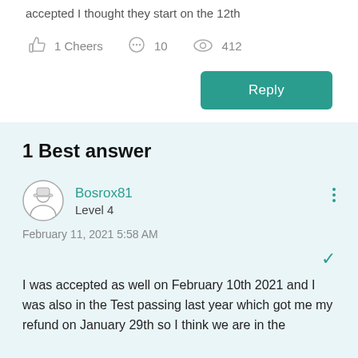accepted I thought they start on the 12th
1 Cheers   10   412
Reply
1 Best answer
Bosrox81
Level 4
February 11, 2021 5:58 AM
I was accepted as well on February 10th 2021 and I was also in the Test passing last year which got me my refund on January 29th so I think we are in the